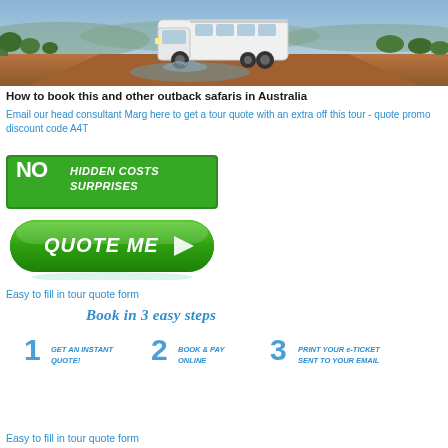[Figure (photo): A white 4WD tour bus driving along a rugged, rocky outback dirt road through scrubland, splashing through water/mud. Red-orange dusty terrain with green vegetation and blue sky in background.]
How to book this and other outback safaris in Australia
Email our head consultant Marg here to get a tour quote with an extra off this tour - quote promo discount code A4T
[Figure (other): Green banner graphic with white bold text: NO HIDDEN COSTS SURPRISES]
[Figure (other): Green rounded button with white italic bold text: QUOTE ME with a right-arrow icon]
Easy to fill in tour quote form
[Figure (infographic): Book in 3 easy steps infographic: 1 GET AN INSTANT QUOTE! 2 BOOK & PAY ONLINE 3 PRINT YOUR e-TICKET SENT TO YOUR EMAIL]
Easy to fill in tour quote form